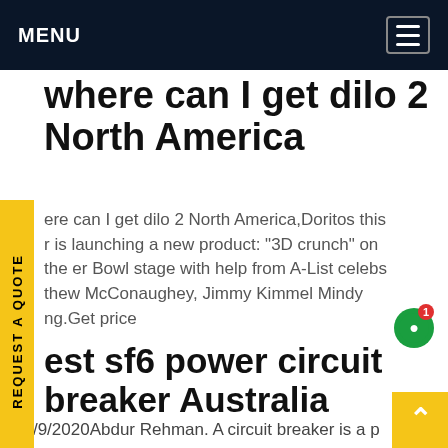MENU
where can I get dilo 2 North America
ere can I get dilo 2 North America,Doritos this r is launching a new product: "3D crunch" on the er Bowl stage with help from A-List celebs thew McConaughey, Jimmy Kimmel Mindy ng.Get price
est sf6 power circuit breaker Australia
21/9/2020Abdur Rehman. A circuit breaker is a p system protection device that can make or bre circuit. A circuit breaker operates under fault